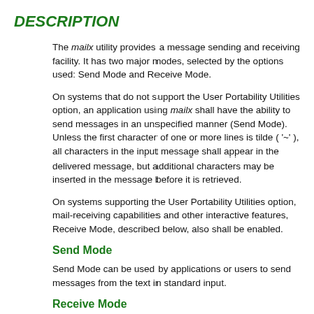DESCRIPTION
The mailx utility provides a message sending and receiving facility. It has two major modes, selected by the options used: Send Mode and Receive Mode.
On systems that do not support the User Portability Utilities option, an application using mailx shall have the ability to send messages in an unspecified manner (Send Mode). Unless the first character of one or more lines is tilde ( '~' ), all characters in the input message shall appear in the delivered message, but additional characters may be inserted in the message before it is retrieved.
On systems supporting the User Portability Utilities option, mail-receiving capabilities and other interactive features, Receive Mode, described below, also shall be enabled.
Send Mode
Send Mode can be used by applications or users to send messages from the text in standard input.
Receive Mode
Receive Mode is more oriented towards interactive users